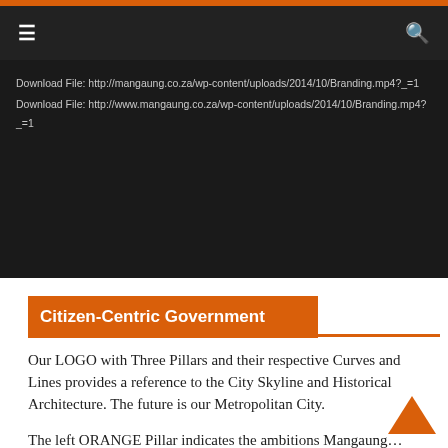☰  [navigation menu]  🔍
Download File: http://mangaung.co.za/wp-content/uploads/2014/10/Branding.mp4?_=1
Download File: http://www.mangaung.co.za/wp-content/uploads/2014/10/Branding.mp4?_=1
Citizen-Centric Government
Our LOGO with Three Pillars and their respective Curves and Lines provides a reference to the City Skyline and Historical Architecture. The future is our Metropolitan City.
The left ORANGE Pillar indicates the ambitions Mangaung…